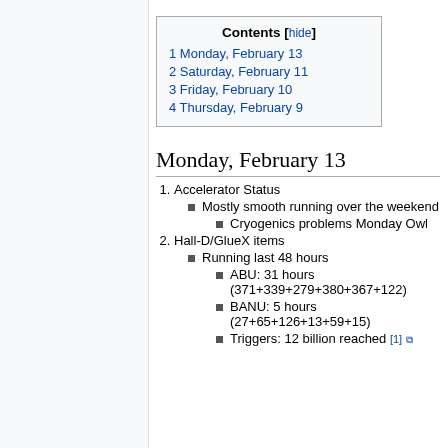1 Monday, February 13
2 Saturday, February 11
3 Friday, February 10
4 Thursday, February 9
Monday, February 13
1. Accelerator Status
Mostly smooth running over the weekend
Cryogenics problems Monday Owl
2. Hall-D/GlueX items
Running last 48 hours
ABU: 31 hours (371+339+279+380+367+122)
BANU: 5 hours (27+65+126+13+59+15)
Triggers: 12 billion reached [1]